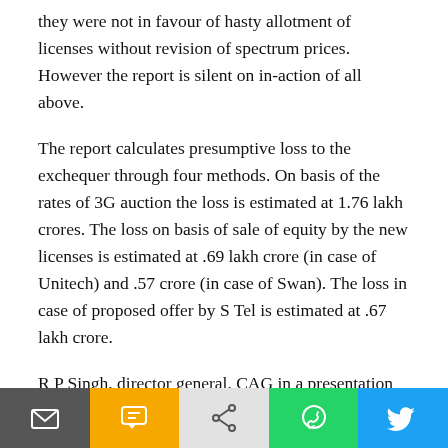they were not in favour of hasty allotment of licenses without revision of spectrum prices. However the report is silent on in-action of all above.
The report calculates presumptive loss to the exchequer through four methods. On basis of the rates of 3G auction the loss is estimated at 1.76 lakh crores. The loss on basis of sale of equity by the new licenses is estimated at .69 lakh crore (in case of Unitech) and .57 crore (in case of Swan). The loss in case of proposed offer by S Tel is estimated at .67 lakh crore.
R P Singh, director general, CAG in a presentation stated that department of telecom overlooked the suggestions of ministry of finance, ministry of law and justice and the prime minister. He also highlighted that the opinion of attorney general was felt to be out of context at the level of